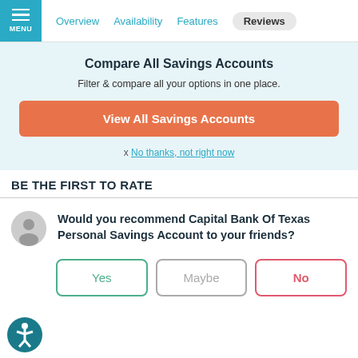MENU | Overview | Availability | Features | Reviews
Compare All Savings Accounts
Filter & compare all your options in one place.
View All Savings Accounts
x No thanks, not right now
BE THE FIRST TO RATE
Would you recommend Capital Bank Of Texas Personal Savings Account to your friends?
Yes | Maybe | No